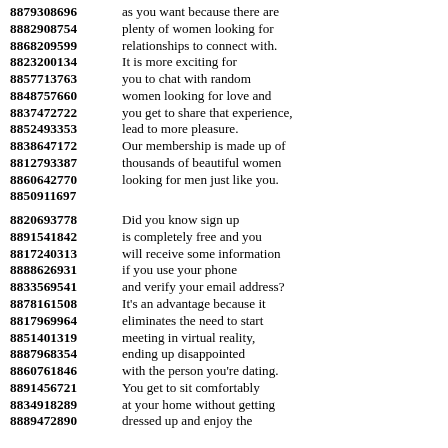8879308696 as you want because there are
8882908754 plenty of women looking for
8868209599 relationships to connect with.
8823200134 It is more exciting for
8857713763 you to chat with random
8848757660 women looking for love and
8837472722 you get to share that experience,
8852493353 lead to more pleasure.
8838647172 Our membership is made up of
8812793387 thousands of beautiful women
8860642770 looking for men just like you.
8850911697
8820693778 Did you know sign up
8891541842 is completely free and you
8817240313 will receive some information
8888626931 if you use your phone
8833569541 and verify your email address?
8878161508 It's an advantage because it
8817969964 eliminates the need to start
8851401319 meeting in virtual reality,
8887968354 ending up disappointed
8860761846 with the person you're dating.
8891456721 You get to sit comfortably
8834918289 at your home without getting
8889472890 dressed up and enjoy the